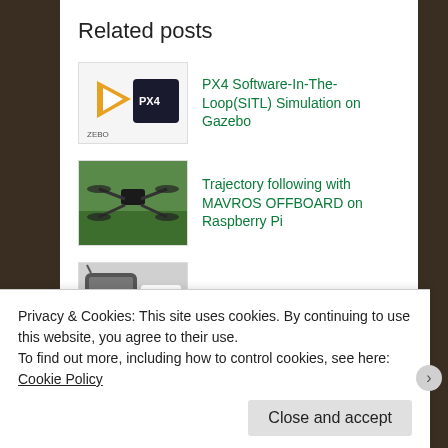Related posts
[Figure (screenshot): Thumbnail image for PX4 Software-In-The-Loop(SITL) Simulation on Gazebo post, showing PX4 and Gazebo logos]
PX4 Software-In-The-Loop(SITL) Simulation on Gazebo
[Figure (photo): Thumbnail image for Trajectory following with MAVROS OFFBOARD on Raspberry Pi post, showing a quadcopter drone on grass]
Trajectory following with MAVROS OFFBOARD on Raspberry Pi
[Figure (screenshot): Thumbnail image for ROSPPM: ROS Package for Accessing RC Transmitters post, showing RC transmitter with ROS branding]
ROSPPM: ROS Package for Accessing RC Transmitters
← Non-Symmetric Non-
[Interactive Media] Sound
Privacy & Cookies: This site uses cookies. By continuing to use this website, you agree to their use.
To find out more, including how to control cookies, see here: Cookie Policy
Close and accept